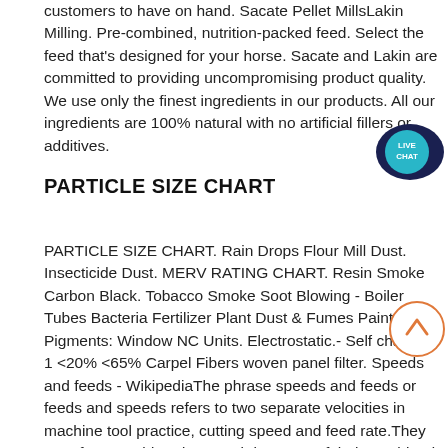customers to have on hand. Sacate Pellet MillsLakin Milling. Pre-combined, nutrition-packed feed. Select the feed that's designed for your horse. Sacate and Lakin are committed to providing uncompromising product quality. We use only the finest ingredients in our products. All our ingredients are 100% natural with no artificial fillers or additives.
PARTICLE SIZE CHART
PARTICLE SIZE CHART. Rain Drops Flour Mill Dust. Insecticide Dust. MERV RATING CHART. Resin Smoke Carbon Black. Tobacco Smoke Soot Blowing - Boiler Tubes Bacteria Fertilizer Plant Dust & Fumes Paint Pigments: Window NC Units. Electrostatic.- Self charging 1 <20% <65% Carpel Fibers woven panel filter. Speeds and feeds - WikipediaThe phrase speeds and feeds or feeds and speeds refers to two separate velocities in machine tool practice, cutting speed and feed rate.They are often considered as a pair because of their combined
[Figure (other): Live Chat speech bubble icon with teal/dark blue colors and 'LIVE CHAT' text]
[Figure (other): Scroll-to-top circular button with upward arrow]